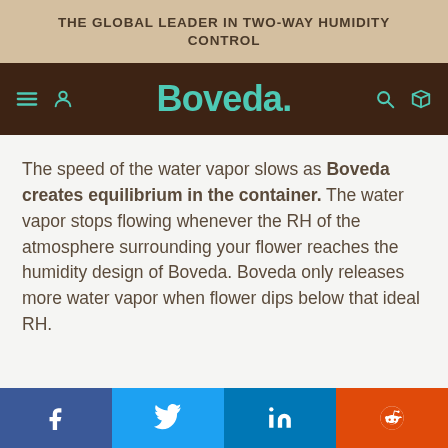THE GLOBAL LEADER IN TWO-WAY HUMIDITY CONTROL
[Figure (logo): Boveda brand logo with navigation icons on dark brown navbar]
The speed of the water vapor slows as Boveda creates equilibrium in the container. The water vapor stops flowing whenever the RH of the atmosphere surrounding your flower reaches the humidity design of Boveda. Boveda only releases more water vapor when flower dips below that ideal RH.
[Figure (infographic): Social sharing buttons: Facebook (blue), Twitter (light blue), LinkedIn (dark blue), Reddit (orange)]